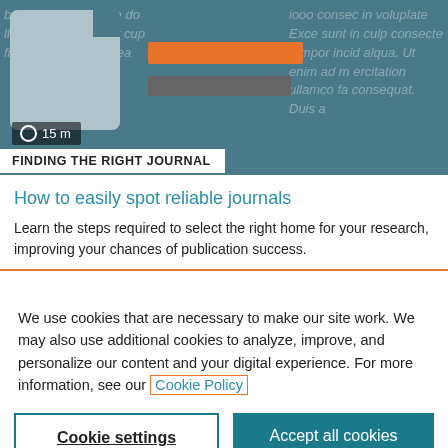[Figure (screenshot): Banner image showing a document/article icon with orange and gray bars on a teal textured background with lorem ipsum text. Shows '15 m' time badge and 'FINDING THE RIGHT JOURNAL' label.]
How to easily spot reliable journals
Learn the steps required to select the right home for your research, improving your chances of publication success.
We use cookies that are necessary to make our site work. We may also use additional cookies to analyze, improve, and personalize our content and your digital experience. For more information, see our Cookie Policy
Cookie settings
Accept all cookies